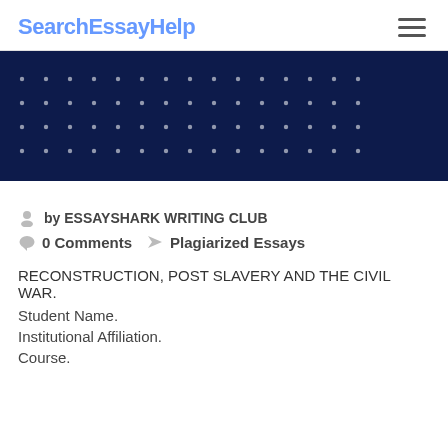SearchEssayHelp
[Figure (illustration): Dark navy blue banner with decorative white dot pattern arranged in a grid]
by ESSAYSHARK WRITING CLUB
0 Comments   Plagiarized Essays
RECONSTRUCTION, POST SLAVERY AND THE CIVIL WAR.
Student Name.
Institutional Affiliation.
Course.